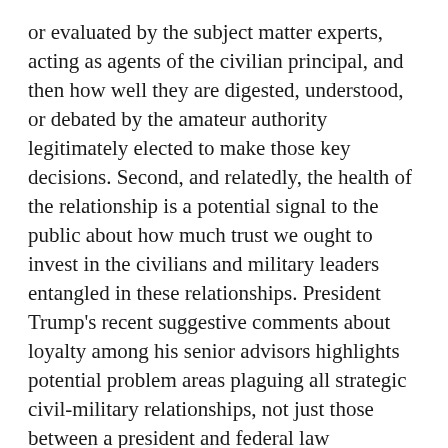or evaluated by the subject matter experts, acting as agents of the civilian principal, and then how well they are digested, understood, or debated by the amateur authority legitimately elected to make those key decisions. Second, and relatedly, the health of the relationship is a potential signal to the public about how much trust we ought to invest in the civilians and military leaders entangled in these relationships. President Trump's recent suggestive comments about loyalty among his senior advisors highlights potential problem areas plaguing all strategic civil-military relationships, not just those between a president and federal law enforcement.
Perhaps nothing speaks more to the complex nature of the civil-military relationship than the outsized significance of certain words. When it comes to using American military force, verbs like “authorize” and